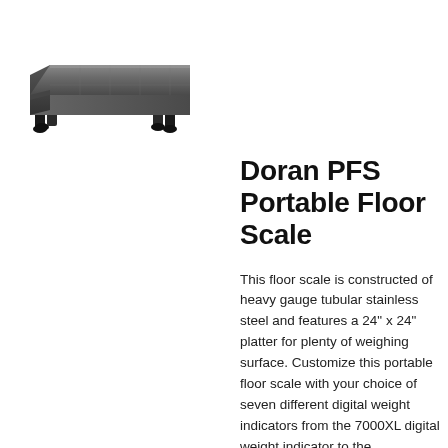[Figure (photo): Photograph of a Doran PFS Portable Floor Scale — a flat stainless steel platform with short legs, viewed from a slight angle above.]
Doran PFS Portable Floor Scale
This floor scale is constructed of heavy gauge tubular stainless steel and features a 24" x 24" platter for plenty of weighing surface. Customize this portable floor scale with your choice of seven different digital weight indicators from the 7000XL digital weight indicator to the intrinsically safe 8000IS indicator.